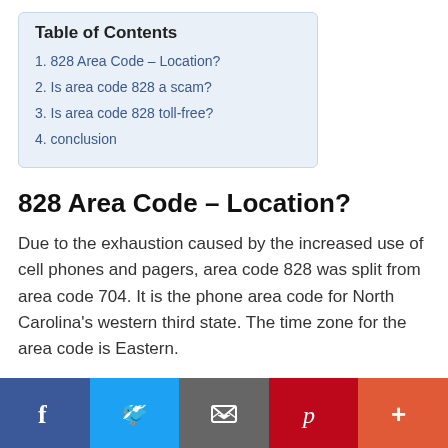Table of Contents
1. 828 Area Code – Location?
2. Is area code 828 a scam?
3. Is area code 828 toll-free?
4. conclusion
828 Area Code – Location?
Due to the exhaustion caused by the increased use of cell phones and pagers, area code 828 was split from area code 704. It is the phone area code for North Carolina's western third state. The time zone for the area code is Eastern.
Social share bar: Facebook, Twitter, Email, Pinterest, More